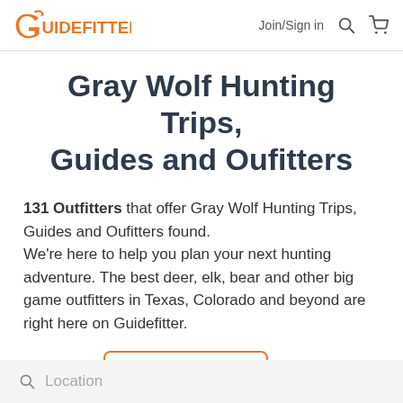Guidefitter | Join/Sign in
Gray Wolf Hunting Trips, Guides and Oufitters
131 Outfitters that offer Gray Wolf Hunting Trips, Guides and Oufitters found. We're here to help you plan your next hunting adventure. The best deer, elk, bear and other big game outfitters in Texas, Colorado and beyond are right here on Guidefitter.
CHANGE | REFINE SEARCH
Location